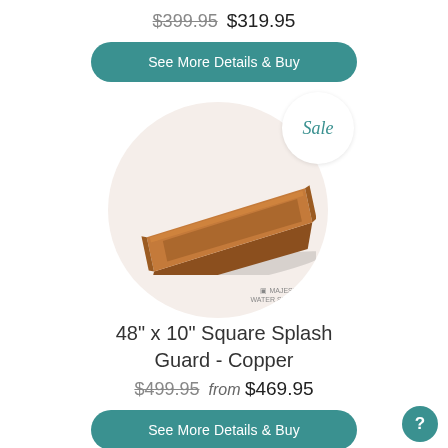$399.95 $319.95
See More Details & Buy
[Figure (photo): A copper 48-inch by 10-inch square splash guard product shown on a circular beige background with a sale badge]
48" x 10" Square Splash Guard - Copper
$499.95 from $469.95
See More Details & Buy